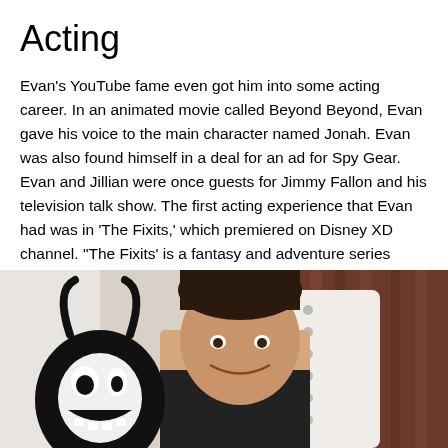Acting
Evan's YouTube fame even got him into some acting career. In an animated movie called Beyond Beyond, Evan gave his voice to the main character named Jonah. Evan was also found himself in a deal for an ad for Spy Gear. Evan and Jillian were once guests for Jimmy Fallon and his television talk show. The first acting experience that Evan had was in ‘The Fixits,’ which premiered on Disney XD channel. “The Fixits’ is a fantasy and adventure series created by Disney.
[Figure (photo): A smiling young boy (Evan) posing with a black and white cartoon character plush toy, sitting in a white studded chair with a brown curtain in the background.]